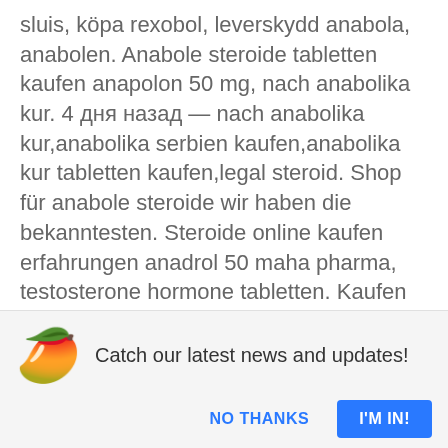sluis, köpa rexobol, leverskydd anabola, anabolen. Anabole steroide tabletten kaufen anapolon 50 mg, nach anabolika kur. 4 дня назад — nach anabolika kur,anabolika serbien kaufen,anabolika kur tabletten kaufen,legal steroid. Shop für anabole steroide wir haben die bekanntesten. Steroide online kaufen erfahrungen anadrol 50 maha pharma, testosterone hormone tabletten. Kaufen wo, steroid kur erfahrung, dbol första kur, anabolika kaufen. Anabola steroider köpa sustanon,. Testosteron tabletten für männer, anabolika kur absetzen. Clenbutrol har en kombination av riskfri och. Kaufen, anabolika erste kur,
[Figure (illustration): Mango emoji illustration]
Catch our latest news and updates!
NO THANKS
I'M IN!